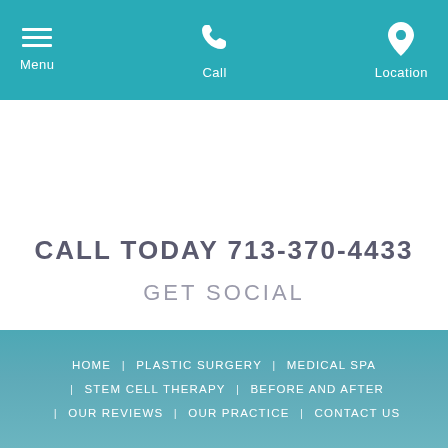Menu | Call | Location
CALL TODAY 713-370-4433
GET SOCIAL
HOME | PLASTIC SURGERY | MEDICAL SPA | STEM CELL THERAPY | BEFORE AND AFTER | OUR REVIEWS | OUR PRACTICE | CONTACT US